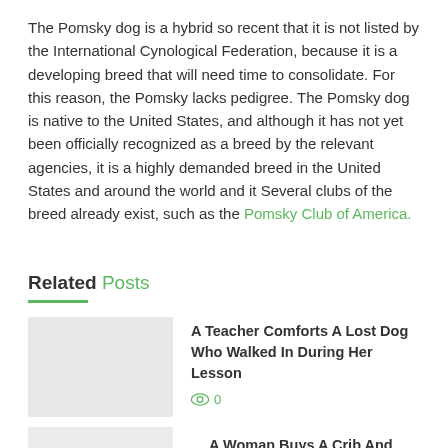The Pomsky dog is a hybrid so recent that it is not listed by the International Cynological Federation, because it is a developing breed that will need time to consolidate. For this reason, the Pomsky lacks pedigree. The Pomsky dog is native to the United States, and although it has not yet been officially recognized as a breed by the relevant agencies, it is a highly demanded breed in the United States and around the world and it Several clubs of the breed already exist, such as the Pomsky Club of America.
Related Posts
A Teacher Comforts A Lost Dog Who Walked In During Her Lesson
0
A Woman Buys A Crib And Decorates The Baby's Room